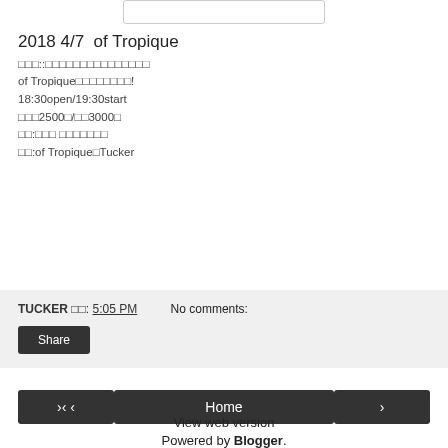[Figure (other): Small white rectangle/image placeholder at top center]
2018 4/7  of Tropique
□□□::□□□□□□□□□□□□□□□□
of Tropique□□□□□□□□□!
18:30open/19:30start
□□□2500□/□□3000□
□□:□□□ □□□□□□□□
□□:of Tropique□Tucker
TUCKER □□: 5:05 PM    No comments:
Share
‹
Home
›
View web version
Powered by Blogger.